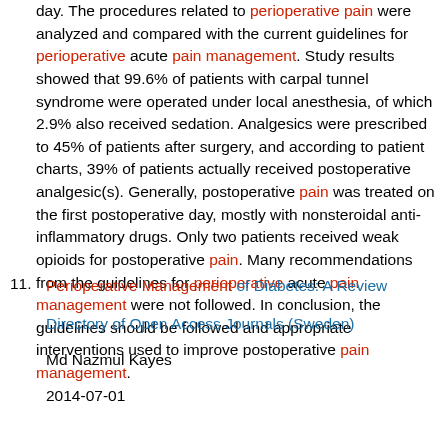day. The procedures related to perioperative pain were analyzed and compared with the current guidelines for perioperative acute pain management. Study results showed that 99.6% of patients with carpal tunnel syndrome were operated under local anesthesia, of which 2.9% also received sedation. Analgesics were prescribed to 45% of patients after surgery, and according to patient charts, 39% of patients actually received postoperative analgesic(s). Generally, postoperative pain was treated on the first postoperative day, mostly with nonsteroidal anti-inflammatory drugs. Only two patients received weak opioids for postoperative pain. Many recommendations from the guidelines for perioperative acute pain management were not followed. In conclusion, the guidelines should be followed and appropriate interventions used to improve postoperative pain management.
11. Perioperative Management of Diabetes: A Review

Directory of Open Access Journals (Sweden)

Md Nazmul Kayes

2014-07-01